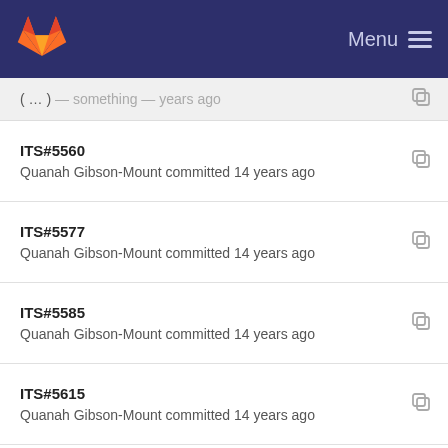GitLab — Menu
ITS#5560
Quanah Gibson-Mount committed 14 years ago
ITS#5577
Quanah Gibson-Mount committed 14 years ago
ITS#5585
Quanah Gibson-Mount committed 14 years ago
ITS#5615
Quanah Gibson-Mount committed 14 years ago
ITS#5588
Quanah Gibson-Mount committed 14 years ago
ITS#5540 (partial)
Quanah Gibson-Mount committed 14 years ago
ITS#5571
Quanah Gibson-Mount committed 14 years ago
ITS#5383